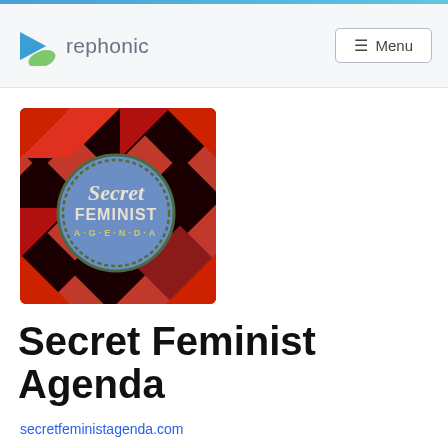rephonic  ☰ Menu
[Figure (photo): Podcast cover art for Secret Feminist Agenda — a blue circular badge with cursive 'Secret' and block text 'FEMINIST AGENDA' on a red and black geometric patchwork background]
Secret Feminist Agenda
secretfeministagenda.com